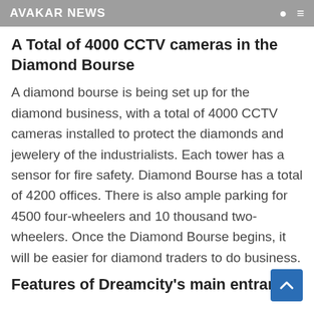AVAKAR NEWS
A Total of 4000 CCTV cameras in the Diamond Bourse
A diamond bourse is being set up for the diamond business, with a total of 4000 CCTV cameras installed to protect the diamonds and jewelery of the industrialists. Each tower has a sensor for fire safety. Diamond Bourse has a total of 4200 offices. There is also ample parking for 4500 four-wheelers and 10 thousand two-wheelers. Once the Diamond Bourse begins, it will be easier for diamond traders to do business.
Features of Dreamcity's main entrance